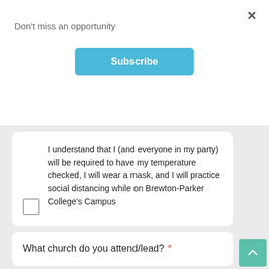Don't miss an opportunity
Subscribe
I understand that I (and everyone in my party) will be required to have my temperature checked, I will wear a mask, and I will practice social distancing while on Brewton-Parker College's Campus
What church do you attend/lead?